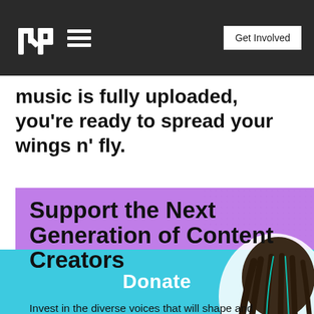YR Media header with logo, hamburger menu, and Get Involved button
music is fully uploaded, you’re ready to spread your wings n’ fly.
[Figure (infographic): Purple banner with bold black text reading 'Support the Next Generation of Content Creators' and subtitle 'Invest in the diverse voices that will shape and lead the future of journalism and art.' with a character illustration on the right side.]
Donate